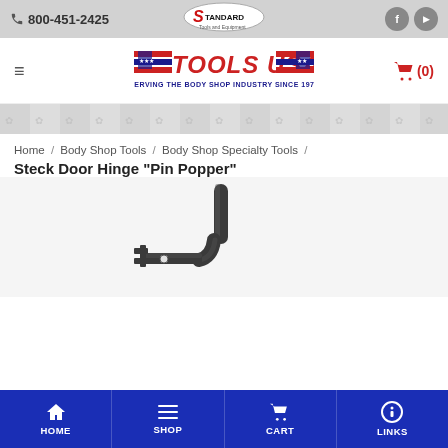800-451-2425 | Standard Tools and Equipment | Facebook | YouTube
[Figure (logo): Tools USA logo — red and blue patriotic design with text TOOLS USA and tagline SERVING THE BODY SHOP INDUSTRY SINCE 1979]
[Figure (illustration): Decorative banner strip with repeating textured pattern]
Home / Body Shop Tools / Body Shop Specialty Tools / Steck Door Hinge "Pin Popper"
[Figure (photo): Steck Door Hinge Pin Popper tool — a dark metal L-shaped hook tool with a forked flat end and a cylindrical rod handle]
HOME | SHOP | CART | LINKS